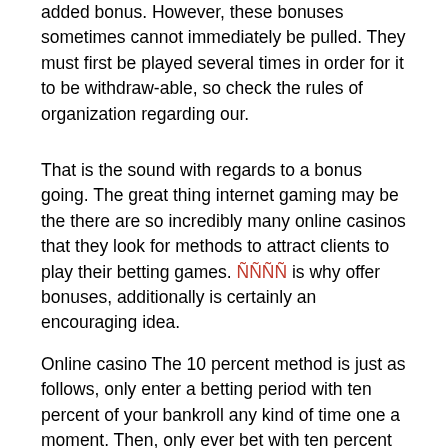added bonus. However, these bonuses sometimes cannot immediately be pulled. They must first be played several times in order for it to be withdraw-able, so check the rules of organization regarding our.
That is the sound with regards to a bonus going. The great thing internet gaming may be the there are so incredibly many online casinos that they look for methods to attract clients to play their betting games. ÑÑÑÑ is why offer bonuses, additionally is certainly an encouraging idea.
Online casino The 10 percent method is just as follows, only enter a betting period with ten percent of your bankroll any kind of time one a moment. Then, only ever bet with ten percent of